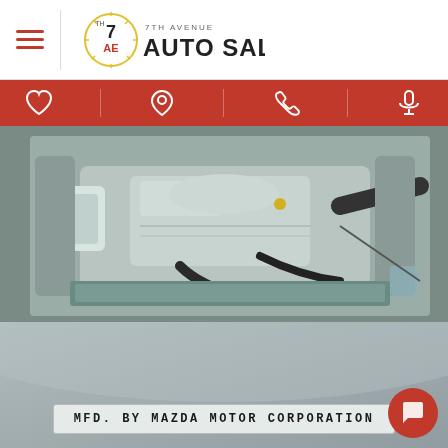7th Avenue Auto Sales
[Figure (photo): Car engine bay showing a Mazda engine with various components including intake, hoses, and accessories, viewed from above with the hood open.]
[Figure (photo): Close-up of a vehicle manufacturer's label reading: MFD. BY MAZDA MOTOR CORPORATION]